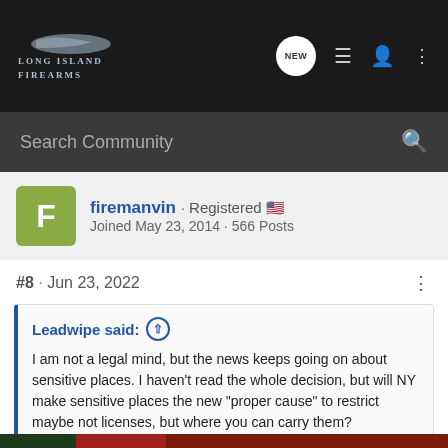Long Island Firearms - navigation bar with search
firemanvin · Registered
Joined May 23, 2014 · 566 Posts
#8 · Jun 23, 2022
Leadwipe said: ↑
I am not a legal mind, but the news keeps going on about sensitive places. I haven't read the whole decision, but will NY make sensitive places the new "proper cause" to restrict maybe not licenses, but where you can carry them?
Adding restrictions to "sensitive places" is really going to boggle up the LEO / retired LEO carve outs. Minimally, a retired LEO's license t...make the carv...ing to
[Figure (screenshot): Bass Pro Shops Hunting Bargain Cave Clearance advertisement banner]